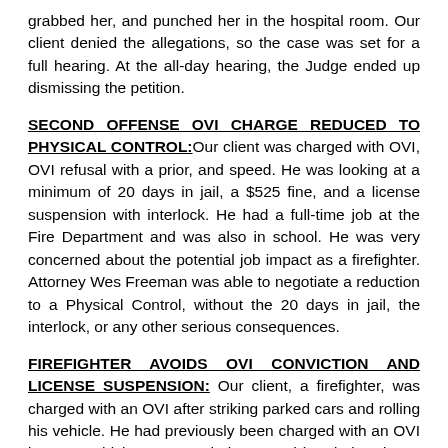grabbed her, and punched her in the hospital room. Our client denied the allegations, so the case was set for a full hearing. At the all-day hearing, the Judge ended up dismissing the petition.
SECOND OFFENSE OVI CHARGE REDUCED TO PHYSICAL CONTROL: Our client was charged with OVI, OVI refusal with a prior, and speed. He was looking at a minimum of 20 days in jail, a $525 fine, and a license suspension with interlock. He had a full-time job at the Fire Department and was also in school. He was very concerned about the potential job impact as a firefighter. Attorney Wes Freeman was able to negotiate a reduction to a Physical Control, without the 20 days in jail, the interlock, or any other serious consequences.
FIREFIGHTER AVOIDS OVI CONVICTION AND LICENSE SUSPENSION: Our client, a firefighter, was charged with an OVI after striking parked cars and rolling his vehicle. He had previously been charged with an OVI in 2020, which Attorney Chelsea Lund handed and was able to negotiate a plea bargain. He again hired Chelsea and was able to avoid an OVI conviction on the new case as well. He also was able to avoid a